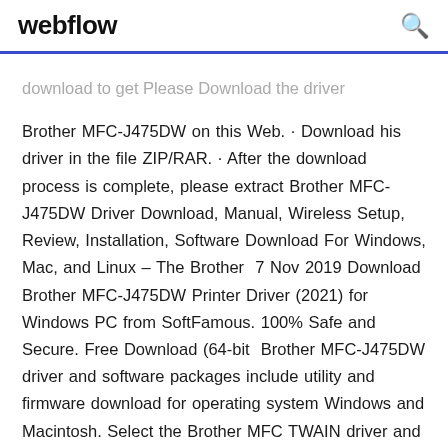webflow
download to get Please Download the driver Brother MFC-J475DW on this Web. · Download his driver in the file ZIP/RAR. · After the download process is complete, please extract Brother MFC-J475DW Driver Download, Manual, Wireless Setup, Review, Installation, Software Download For Windows, Mac, and Linux – The Brother 7 Nov 2019 Download Brother MFC-J475DW Printer Driver (2021) for Windows PC from SoftFamous. 100% Safe and Secure. Free Download (64-bit Brother MFC-J475DW driver and software packages include utility and firmware download for operating system Windows and Macintosh. Select the Brother MFC TWAIN driver and click OK to initialize it.